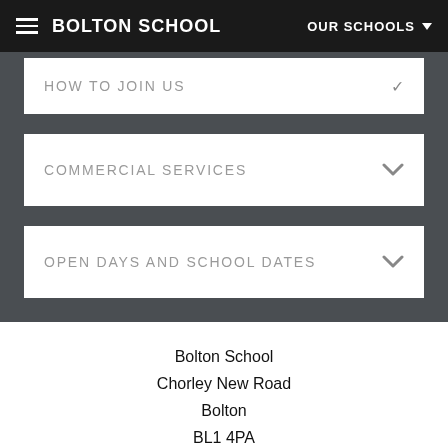BOLTON SCHOOL | OUR SCHOOLS
HOW TO JOIN US
COMMERCIAL SERVICES
OPEN DAYS AND SCHOOL DATES
Bolton School
Chorley New Road
Bolton
BL1 4PA
United Kingdom
e: info@boltonschool.org